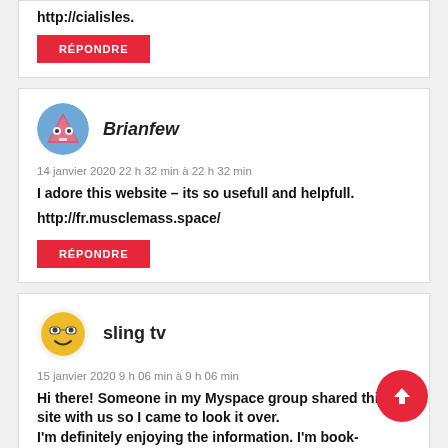http://cialisles.
RÉPONDRE
[Figure (illustration): Avatar for Brianfew – pink/red triangular robot icon on blue background]
Brianfew
14 janvier 2020 22 h 32 min à 22 h 32 min
I adore this website – its so usefull and helpfull.
http://fr.musclemass.space/
RÉPONDRE
[Figure (illustration): Avatar for sling tv – smiling emoji face with glasses on yellow background]
sling tv
15 janvier 2020 9 h 06 min à 9 h 06 min
Hi there! Someone in my Myspace group shared this site with us so I came to look it over.
I'm definitely enjoying the information. I'm book-marking and will be tweeting this to my followers!